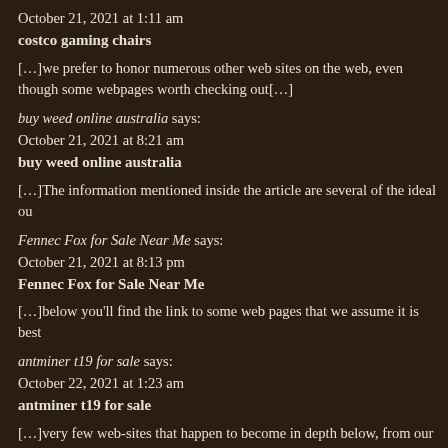October 21, 2021 at 1:11 am
costco gaming chairs
[…]we prefer to honor numerous other web sites on the web, even though some webpages worth checking out[…]
buy weed online australia says:
October 21, 2021 at 8:21 am
buy weed online australia
[…]The information mentioned inside the article are several of the ideal ou
Fennec Fox for Sale Near Me says:
October 21, 2021 at 8:13 pm
Fennec Fox for Sale Near Me
[…]below you’ll find the link to some web pages that we assume it is best
antminer t19 for sale says:
October 22, 2021 at 1:23 am
antminer t19 for sale
[…]very few web-sites that happen to become in depth below, from our po out[…]
Murchison falls says:
October 22, 2021 at 7:51 am